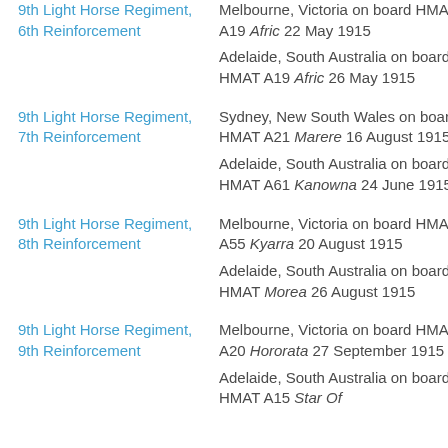| Unit | Departure Details |
| --- | --- |
| 9th Light Horse Regiment, 6th Reinforcement | Melbourne, Victoria on board HMAT A19 Afric 22 May 1915
Adelaide, South Australia on board HMAT A19 Afric 26 May 1915 |
| 9th Light Horse Regiment, 7th Reinforcement | Sydney, New South Wales on board HMAT A21 Marere 16 August 1915
Adelaide, South Australia on board HMAT A61 Kanowna 24 June 1915 |
| 9th Light Horse Regiment, 8th Reinforcement | Melbourne, Victoria on board HMAT A55 Kyarra 20 August 1915
Adelaide, South Australia on board HMAT Morea 26 August 1915 |
| 9th Light Horse Regiment, 9th Reinforcement | Melbourne, Victoria on board HMAT A20 Hororata 27 September 1915
Adelaide, South Australia on board HMAT A15 Star Of... |